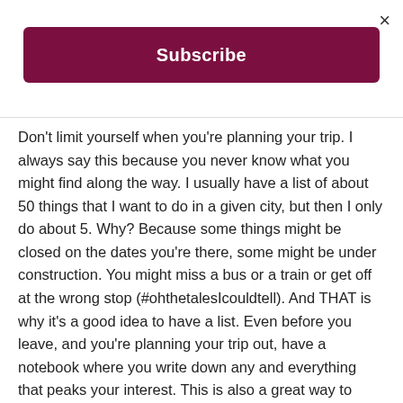×
Subscribe
Don't limit yourself when you're planning your trip. I always say this because you never know what you might find along the way. I usually have a list of about 50 things that I want to do in a given city, but then I only do about 5. Why? Because some things might be closed on the dates you're there, some might be under construction. You might miss a bus or a train or get off at the wrong stop (#ohthetalesIcouldtell). And THAT is why it's a good idea to have a list. Even before you leave, and you're planning your trip out, have a notebook where you write down any and everything that peaks your interest. This is also a great way to keep track of all the suggestions people give you!